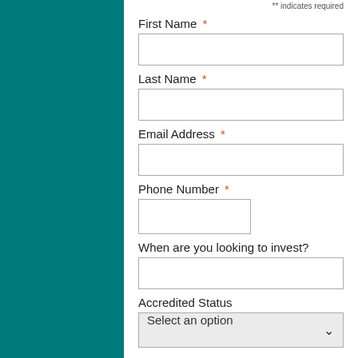** indicates required
First Name *
Last Name *
Email Address *
Phone Number *
When are you looking to invest?
Accredited Status
Select an option
Subscribe